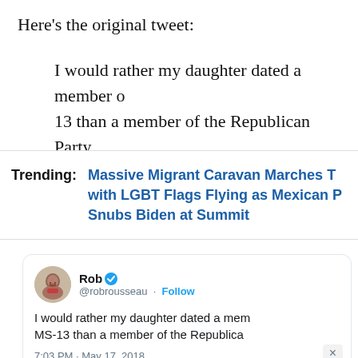Here’s the original tweet:
I would rather my daughter dated a member of MS-13 than a member of the Republican Party
[Figure (screenshot): Trending news box with headline: Massive Migrant Caravan Marches T... with LGBT Flags Flying as Mexican ... Snubs Biden at Summit]
[Figure (screenshot): Tweet from Rob (@robrousseau) verified account with Follow button, tweet text: I would rather my daughter dated a member of MS-13 than a member of the Republica..., timestamp: 7:03 PM · May 17, 2018, with close X button]